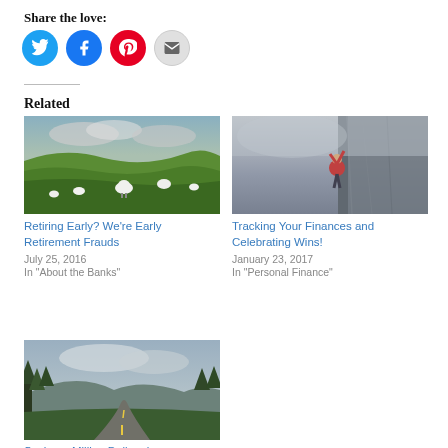Share the love:
[Figure (illustration): Four social sharing icon buttons: Twitter (blue), Facebook (blue), Pinterest (red), Email (grey)]
Related
[Figure (photo): Sheep grazing on a green hillside under a cloudy sky]
Retiring Early? We're Early Retirement Frauds
July 25, 2016
In "About the Banks"
[Figure (photo): Person rock climbing on a foggy cliff face]
Tracking Your Finances and Celebrating Wins!
January 23, 2017
In "Personal Finance"
[Figure (photo): Winding road through forested mountains under a cloudy sky]
Saving a Million Dollars is